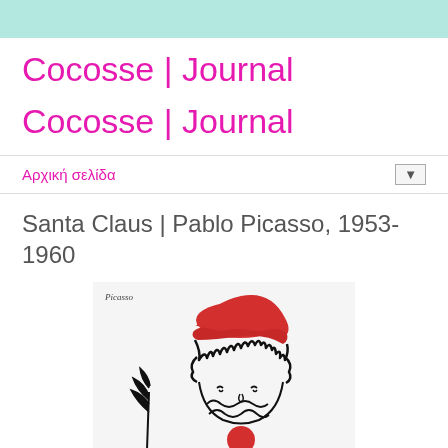Cocosse | Journal
Cocosse | Journal
Αρχική σελίδα
Santa Claus | Pablo Picasso, 1953-1960
[Figure (illustration): Painting by Pablo Picasso depicting Santa Claus with a red hat, black curly hair/beard, and a child or figure below, with a plant/branch on the left. Minimalist line drawing style with red and black on white background. Signed 'Picasso' in the upper left corner.]